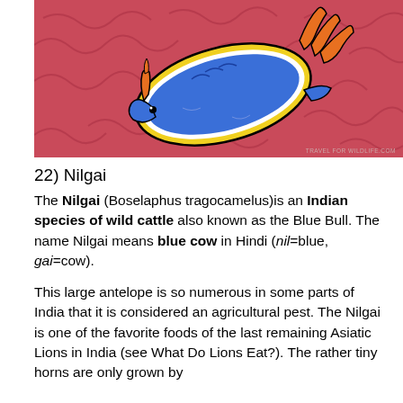[Figure (illustration): Colorful illustration of a blue sea slug / nudibranch with yellow and orange accents on a pink coral background. Watermark reads TRAVEL FOR WILDLIFE.COM]
22) Nilgai
The Nilgai (Boselaphus tragocamelus)is an Indian species of wild cattle also known as the Blue Bull. The name Nilgai means blue cow in Hindi (nil=blue, gai=cow).
This large antelope is so numerous in some parts of India that it is considered an agricultural pest. The Nilgai is one of the favorite foods of the last remaining Asiatic Lions in India (see What Do Lions Eat?). The rather tiny horns are only grown by